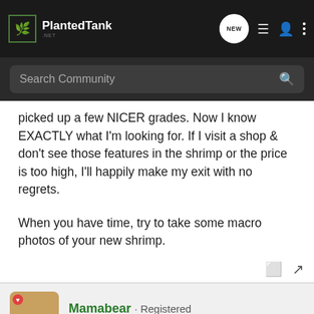PlantedTank
picked up a few NICER grades. Now I know EXACTLY what I'm looking for. If I visit a shop & don't see those features in the shrimp or the price is too high, I'll happily make my exit with no regrets.

When you have time, try to take some macro photos of your new shrimp.
Mamabear · Registered
Joined Jan 16, 2014 · 254 Posts
Discussion Starter · #15 · Mar 11, 2014